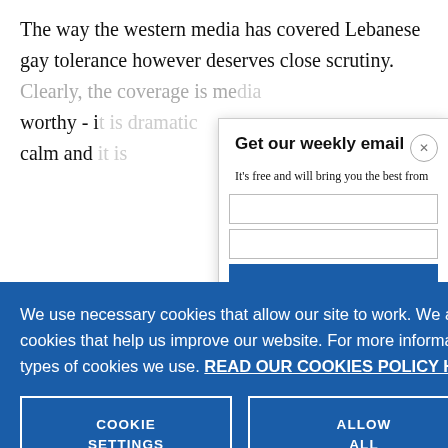The way the western media has covered Lebanese gay tolerance however deserves close scrutiny. Clearly, the coverage is media worthy - it is dramatic, it is emotional, it is calm and
[Figure (screenshot): Popup modal with title 'Get our weekly email' and subtext 'It’s free and will bring you the best from', with a close (x) button, email input fields, subscribe button, and data note.]
We use necessary cookies that allow our site to work. We also set optional cookies that help us improve our website. For more information about the types of cookies we use. READ OUR COOKIES POLICY HERE
COOKIE SETTINGS
ALLOW ALL COOKIES
data.
Lebanon